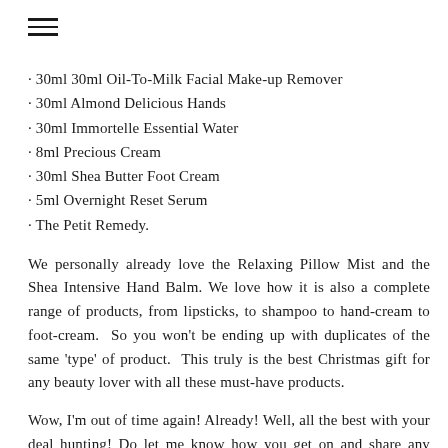[Figure (other): Hamburger menu icon (three horizontal lines)]
30ml 30ml Oil-To-Milk Facial Make-up Remover
30ml Almond Delicious Hands
30ml Immortelle Essential Water
8ml Precious Cream
30ml Shea Butter Foot Cream
5ml Overnight Reset Serum
The Petit Remedy.
We personally already love the Relaxing Pillow Mist and the Shea Intensive Hand Balm. We love how it is also a complete range of products, from lipsticks, to shampoo to hand-cream to foot-cream.  So you won't be ending up with duplicates of the same 'type' of product.  This truly is the best Christmas gift for any beauty lover with all these must-have products.
Wow, I'm out of time again! Already! Well, all the best with your deal hunting! Do let me know how you get on and share any bargains you find!